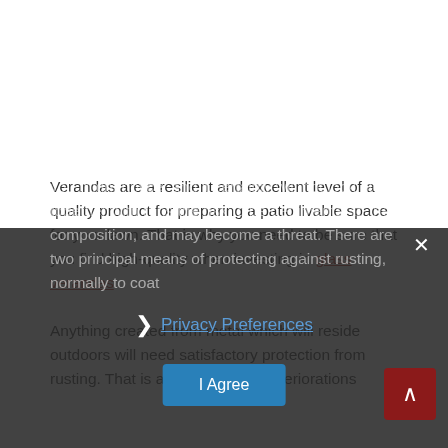Verandas are a resilient and excellent level of a quality product for preparing a patio livable space for your lawn. That is why you need to be sure that you find high-quality when investing in glass verandas .
Anything created from metal which will reside outdoors will need satisfactory protection from rusting. That is among the first deteriorations you might notice, and it certainly will not look nice together with runs the risk to be detrimental to the composition, and may become a threat. There are two principal means of protecting against rusting, normally to coat